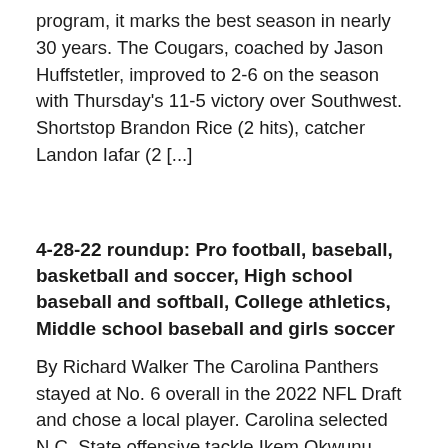program, it marks the best season in nearly 30 years. The Cougars, coached by Jason Huffstetler, improved to 2-6 on the season with Thursday's 11-5 victory over Southwest. Shortstop Brandon Rice (2 hits), catcher Landon Iafar (2 [...]
4-28-22 roundup: Pro football, baseball, basketball and soccer, High school baseball and softball, College athletics, Middle school baseball and girls soccer
By Richard Walker The Carolina Panthers stayed at No. 6 overall in the 2022 NFL Draft and chose a local player. Carolina selected N.C. State offensive tackle Ikem Okwunu, who played high school football at Providence Day. Ekwonu is the first N.C. State player drafted by the Panthers in their history. Carolina has five more [...]